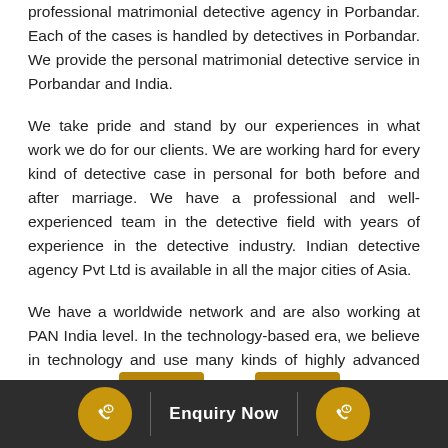professional matrimonial detective agency in Porbandar. Each of the cases is handled by detectives in Porbandar. We provide the personal matrimonial detective service in Porbandar and India.
We take pride and stand by our experiences in what work we do for our clients. We are working hard for every kind of detective case in personal for both before and after marriage. We have a professional and well-experienced team in the detective field with years of experience in the detective industry. Indian detective agency Pvt Ltd is available in all the major cities of Asia.
We have a worldwide network and are also working at PAN India level. In the technology-based era, we believe in technology and use many kinds of highly advanced technology. [Call Now] [Call Now]
Call Now | Enquiry Now | Call Now